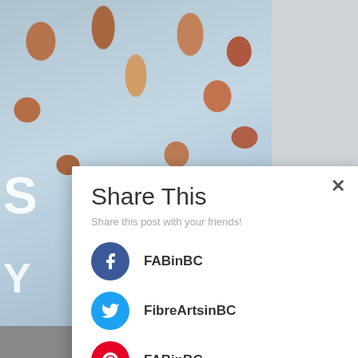[Figure (screenshot): Background showing a close-up photo of fiber/wool with orange/brown curls and light blue fluffy fibers, partially obscured by a modal dialog]
Share This
Share this post with your friends!
FABinBC (Facebook)
FibreArtsinBC (Twitter)
FABinBC (Pinterest)